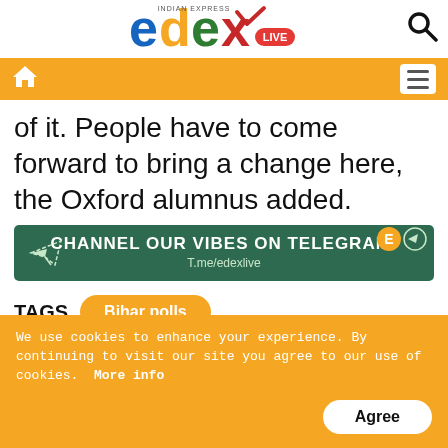[Figure (logo): edexLIVE logo with Indian Express branding and search icon]
[Figure (screenshot): Orange navigation bar with home icon and hamburger menu]
of it. People have to come forward to bring a change here, the Oxford alumnus added.
[Figure (infographic): Dark green Telegram channel banner: CHANNEL OUR VIBES ON TELEGRAM! T.me/edexlive]
TAGS  Bihar polls
ADVERTISEMENT
We use cookies to enhance your experience. By continuing to visit our site you agree to our use of cookies.  More info  Agree